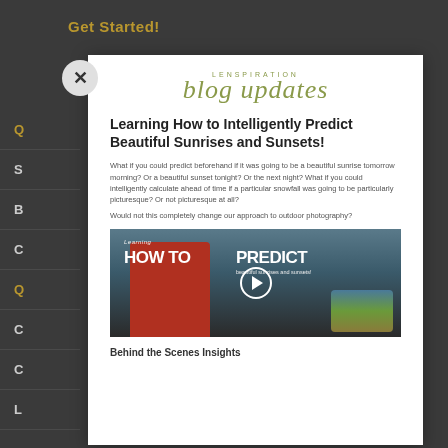Get Started!
[Figure (screenshot): Blog email subscription modal popup for Lenspiration blog updates, showing article about Learning How to Intelligently Predict Beautiful Sunrises and Sunsets, with video thumbnail of man in red jacket and text overlay HOW TO PREDICT]
Learning How to Intelligently Predict Beautiful Sunrises and Sunsets!
What if you could predict beforehand if it was going to be a beautiful sunrise tomorrow morning? Or a beautiful sunset tonight? Or the next night? What if you could intelligently calculate ahead of time if a particular snowfall was going to be particularly picturesque? Or not picturesque at all?
Would not this completely change our approach to outdoor photography?
Behind the Scenes Insights